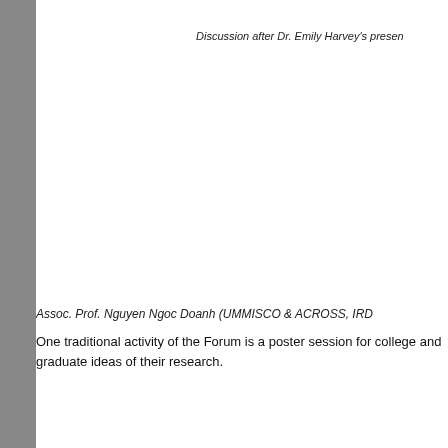Discussion after Dr. Emily Harvey's presen
Assoc. Prof. Nguyen Ngoc Doanh (UMMISCO & ACROSS, IRD
One traditional activity of the Forum is a poster session for college and graduate ideas of their research.